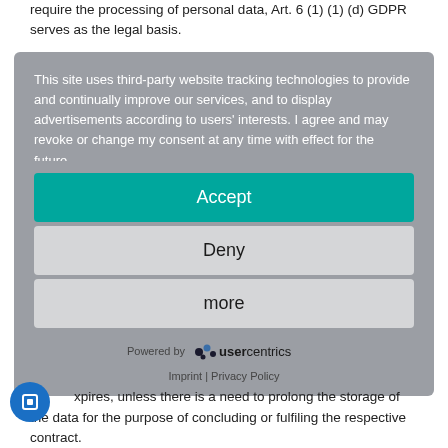require the processing of personal data, Art. 6 (1) (1) (d) GDPR serves as the legal basis.
[Figure (screenshot): Cookie consent modal overlay with teal Accept button, light gray Deny and more buttons, Powered by Usercentrics branding, and Imprint | Privacy Policy links at the bottom.]
xpires, unless there is a need to prolong the storage of the data for the purpose of concluding or fulfiling the respective contract.